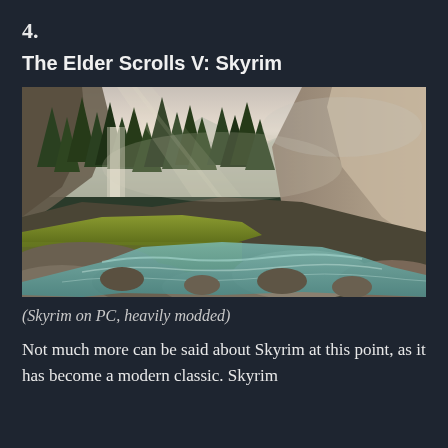4.
The Elder Scrolls V: Skyrim
[Figure (photo): Scenic landscape screenshot of The Elder Scrolls V: Skyrim showing a river flowing through a mountain valley with tall pine trees, rocky cliffs, misty peaks, and golden grass, heavily modded on PC.]
(Skyrim on PC, heavily modded)
Not much more can be said about Skyrim at this point, as it has become a modern classic. Skyrim